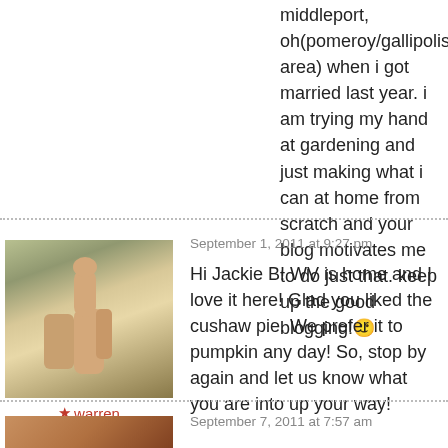middleport, oh(pomeroy/gallipolis area) when i got married last year. i am trying my hand at gardening and just making what i can at home from scratch and your blog motivates me to do just that. keep up the good blogging! 🙂
September 1, 2011 at 9:27 pm
[Figure (photo): Thumbs up photo — hand giving thumbs up outdoors]
★ warren
Hi Jackie B! WV is home and I love it here! Glad you liked the cushaw pie. We prefer it to pumpkin any day! So, stop by again and let us know what you are into up your way!
September 7, 2011 at 7:57 am
[Figure (photo): Avatar photo at bottom of page]